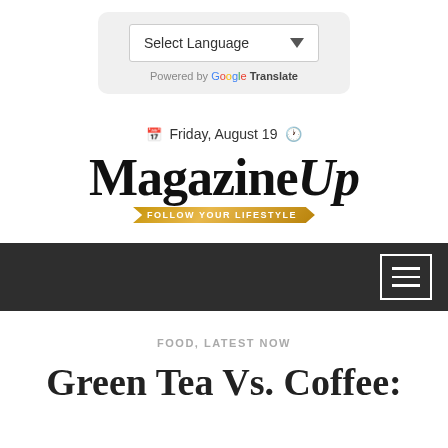[Figure (screenshot): Google Translate widget with 'Select Language' dropdown and 'Powered by Google Translate' text]
Friday, August 19
[Figure (logo): MagazineUp logo with serif bold text and gold ribbon tagline 'FOLLOW YOUR LIFESTYLE']
[Figure (screenshot): Dark navigation bar with hamburger menu icon on the right]
FOOD, LATEST NOW
Green Tea Vs. Coffee: